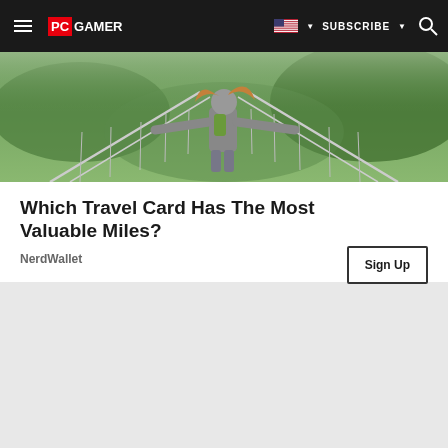PC GAMER | SUBSCRIBE
[Figure (photo): Person standing on a suspension bridge with arms outstretched, viewed from behind, with greenery in the background]
Which Travel Card Has The Most Valuable Miles?
NerdWallet
Sign Up